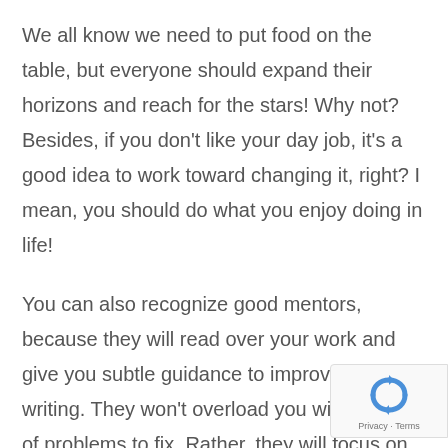We all know we need to put food on the table, but everyone should expand their horizons and reach for the stars! Why not? Besides, if you don't like your day job, it's a good idea to work toward changing it, right? I mean, you should do what you enjoy doing in life!
You can also recognize good mentors, because they will read over your work and give you subtle guidance to improve your writing. They won't overload you with dozens of problems to fix. Rather, they will focus on one common issue, guiding you toward solutions that you can discover on your own.
[Figure (logo): reCAPTCHA badge with recycling-style arrows logo and 'Privacy - Terms' text]